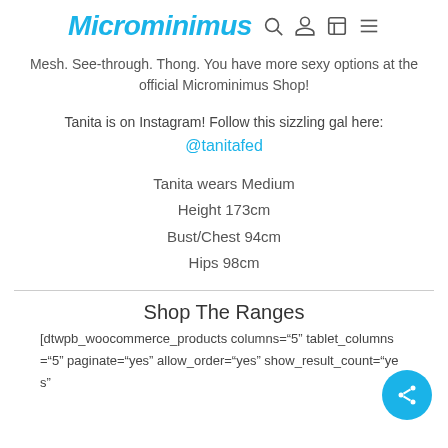Microminimus [search, account, cart, menu icons]
Mesh. See-through. Thong. You have more sexy options at the official Microminimus Shop!
Tanita is on Instagram! Follow this sizzling gal here: @tanitafed
Tanita wears Medium
Height 173cm
Bust/Chest 94cm
Hips 98cm
Shop The Ranges
[dtwpb_woocommerce_products columns="5" tablet_columns="5" paginate="yes" allow_order="yes" show_result_count="yes"